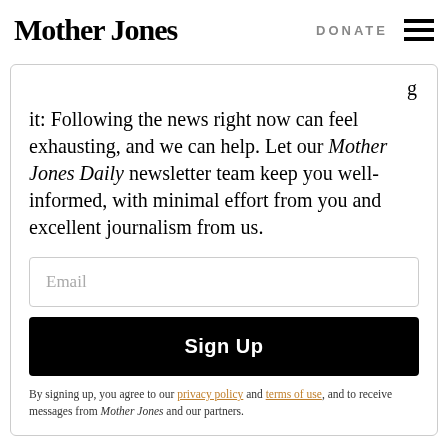Mother Jones | DONATE
it: Following the news right now can feel exhausting, and we can help. Let our Mother Jones Daily newsletter team keep you well-informed, with minimal effort from you and excellent journalism from us.
Email
Sign Up
By signing up, you agree to our privacy policy and terms of use, and to receive messages from Mother Jones and our partners.